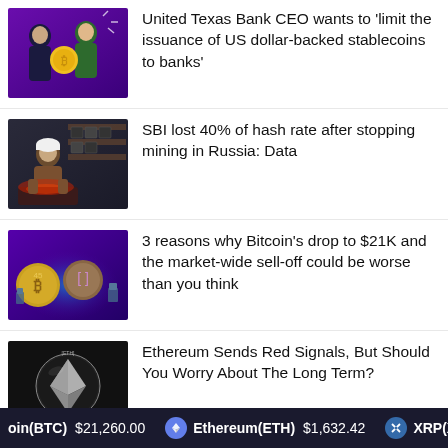[Figure (illustration): Illustration of two men in suits with a gold coin, purple background]
United Texas Bank CEO wants to 'limit the issuance of US dollar-backed stablecoins to banks'
[Figure (illustration): Illustration of a miner in hard hat working with mining equipment]
SBI lost 40% of hash rate after stopping mining in Russia: Data
[Figure (illustration): Illustration of Bitcoin coins with robotic figures on purple background]
3 reasons why Bitcoin's drop to $21K and the market-wide sell-off could be worse than you think
[Figure (photo): Photo of Ethereum coin on dark background]
Ethereum Sends Red Signals, But Should You Worry About The Long Term?
Bitcoin(BTC) $21,260.00   Ethereum(ETH) $1,632.42   XRP(XRP)